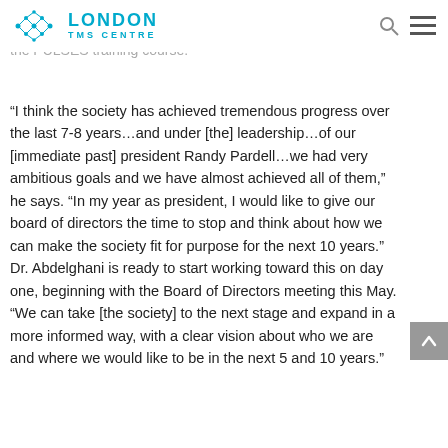London TMS Centre
budget and finance committee, and a member of the board of directors as well as faculty for the PULSES training course.
“I think the society has achieved tremendous progress over the last 7-8 years…and under [the] leadership…of our [immediate past] president Randy Pardell…we had very ambitious goals and we have almost achieved all of them,” he says. “In my year as president, I would like to give our board of directors the time to stop and think about how we can make the society fit for purpose for the next 10 years.” Dr. Abdelghani is ready to start working toward this on day one, beginning with the Board of Directors meeting this May. “We can take [the society] to the next stage and expand in a more informed way, with a clear vision about who we are and where we would like to be in the next 5 and 10 years.”